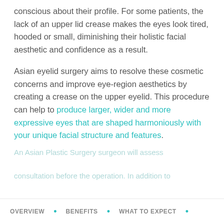conscious about their profile. For some patients, the lack of an upper lid crease makes the eyes look tired, hooded or small, diminishing their holistic facial aesthetic and confidence as a result.
Asian eyelid surgery aims to resolve these cosmetic concerns and improve eye-region aesthetics by creating a crease on the upper eyelid. This procedure can help to produce larger, wider and more expressive eyes that are shaped harmoniously with your unique facial structure and features.
An Asian Plastic Surgery surgeon will assess consultation before the operation. In addition to
OVERVIEW • BENEFITS • WHAT TO EXPECT •